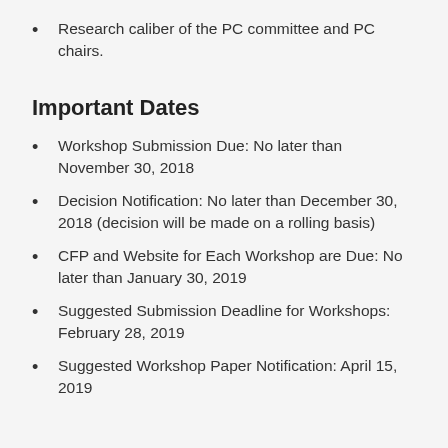Research caliber of the PC committee and PC chairs.
Important Dates
Workshop Submission Due: No later than November 30, 2018
Decision Notification: No later than December 30, 2018 (decision will be made on a rolling basis)
CFP and Website for Each Workshop are Due: No later than January 30, 2019
Suggested Submission Deadline for Workshops: February 28, 2019
Suggested Workshop Paper Notification: April 15, 2019